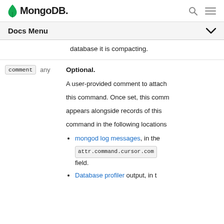MongoDB
Docs Menu
database it is compacting.
| Field | Type | Description |
| --- | --- | --- |
| comment | any | Optional.

A user-provided comment to attach this command. Once set, this comment appears alongside records of this command in the following locations: |
mongod log messages, in the attr.command.cursor.comment field.
Database profiler output, in t